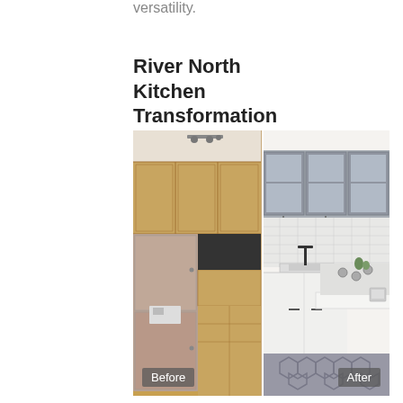versatility.
River North Kitchen Transformation
[Figure (photo): Before and after comparison of a kitchen renovation. Left (Before): kitchen with light wood cabinets, stainless steel refrigerator, dark countertops, and wood floor. Right (After): kitchen with gray upper cabinets featuring glass fronts, white lower cabinets and countertops, white subway tile backsplash, black fixtures, and gray geometric rug. Labels 'Before' and 'After' appear in the bottom corners.]